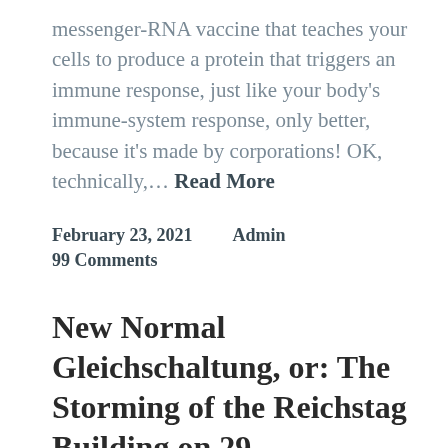messenger-RNA vaccine that teaches your cells to produce a protein that triggers an immune response, just like your body's immune-system response, only better, because it's made by corporations! OK, technically,… Read More
February 23, 2021     Admin
99 Comments
New Normal Gleichschaltung, or: The Storming of the Reichstag Building on 29